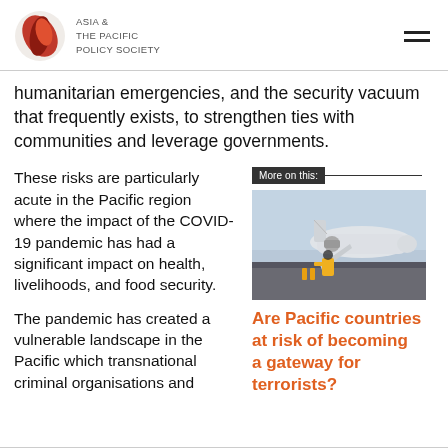ASIA & THE PACIFIC POLICY SOCIETY
humanitarian emergencies, and the security vacuum that frequently exists, to strengthen ties with communities and leverage governments.
These risks are particularly acute in the Pacific region where the impact of the COVID-19 pandemic has had a significant impact on health, livelihoods, and food security.
The pandemic has created a vulnerable landscape in the Pacific which transnational criminal organisations and
[Figure (photo): A ground crew worker in yellow high-visibility vest standing near a propeller aircraft on a tarmac]
Are Pacific countries at risk of becoming a gateway for terrorists?